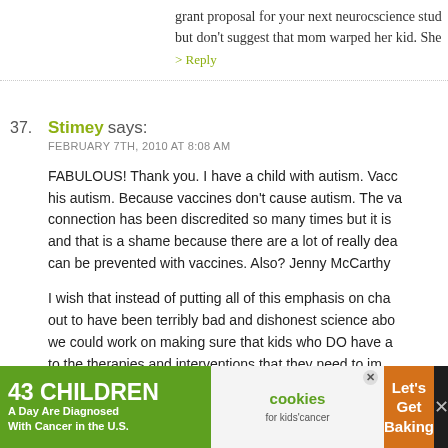grant proposal for your next neurocscience study but don't suggest that mom warped her kid. She
> Reply
37. Stimey says: FEBRUARY 7TH, 2010 AT 8:08 AM
FABULOUS! Thank you. I have a child with autism. Vaccines didn't cause his autism. Because vaccines don't cause autism. The vaccine-autism connection has been discredited so many times but it is and that is a shame because there are a lot of really deadly diseases that can be prevented with vaccines. Also? Jenny McCarthy
I wish that instead of putting all of this emphasis on chasing what turned out to have been terribly bad and dishonest science about vaccines, we could work on making sure that kids who DO have autism have access to the therapies and interventions that they need to improve.
Thanks for being part of this!
.-= Stimey's last blog ..Snowmageddon II: Snowmageddon
[Figure (infographic): Advertisement banner: green section '43 CHILDREN A Day Are Diagnosed With Cancer in the U.S.', white center section with 'cookies for kids cancer' logo and X close button, orange section 'Let's Get Baking', dark section with icons]